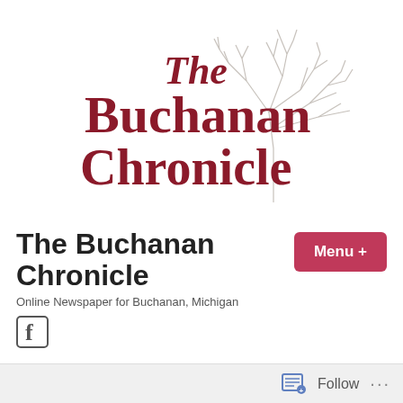[Figure (logo): The Buchanan Chronicle logo with stylized serif text and a bare winter tree illustration in gray, text in dark red/maroon]
The Buchanan Chronicle
Online Newspaper for Buchanan, Michigan
[Figure (logo): Facebook icon (f logo)]
Buchanan Sports –
Follow  ...